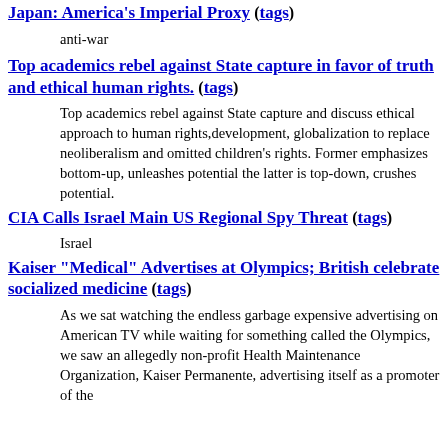Japan: America's Imperial Proxy (tags)
anti-war
Top academics rebel against State capture in favor of truth and ethical human rights. (tags)
Top academics rebel against State capture and discuss ethical approach to human rights,development, globalization to replace neoliberalism and omitted children's rights. Former emphasizes bottom-up, unleashes potential the latter is top-down, crushes potential.
CIA Calls Israel Main US Regional Spy Threat (tags)
Israel
Kaiser "Medical" Advertises at Olympics; British celebrate socialized medicine (tags)
As we sat watching the endless garbage expensive advertising on American TV while waiting for something called the Olympics, we saw an allegedly non-profit Health Maintenance Organization, Kaiser Permanente, advertising itself as a promoter of the